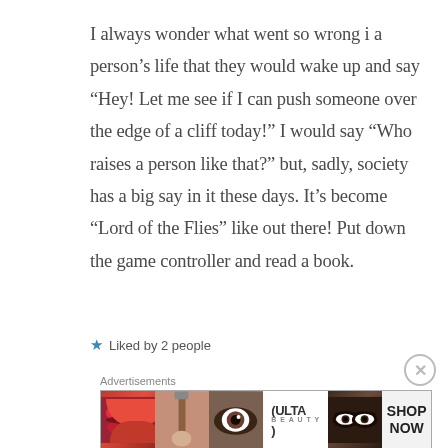I always wonder what went so wrong i a person's life that they would wake up and say “Hey! Let me see if I can push someone over the edge of a cliff today!” I would say “Who raises a person like that?” but, sadly, society has a big say in it these days. It’s become “Lord of the Flies” like out there! Put down the game controller and read a book.
★ Liked by 2 people
Advertisements
[Figure (infographic): ULTA beauty advertisement banner showing makeup imagery including lips, makeup brush, eye closeup, ULTA logo, eye pair, and SHOP NOW text]